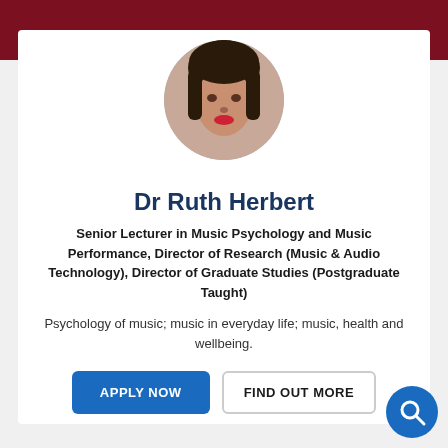[Figure (photo): Circular profile photo of Dr Ruth Herbert, a woman with dark hair and red lips.]
Dr Ruth Herbert
Senior Lecturer in Music Psychology and Music Performance, Director of Research (Music & Audio Technology), Director of Graduate Studies (Postgraduate Taught)
Psychology of music; music in everyday life; music, health and wellbeing.